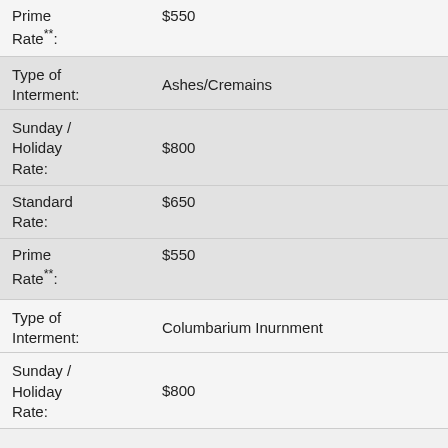Prime Rate**: $550
Type of Interment: Ashes/Cremains
Sunday / Holiday Rate: $800
Standard Rate: $650
Prime Rate**: $550
Type of Interment: Columbarium Inurnment
Sunday / Holiday Rate: $800